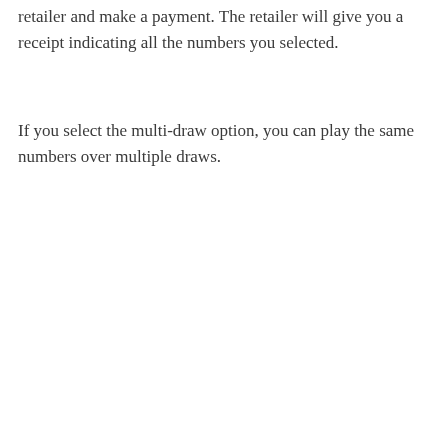retailer and make a payment. The retailer will give you a receipt indicating all the numbers you selected.
If you select the multi-draw option, you can play the same numbers over multiple draws.